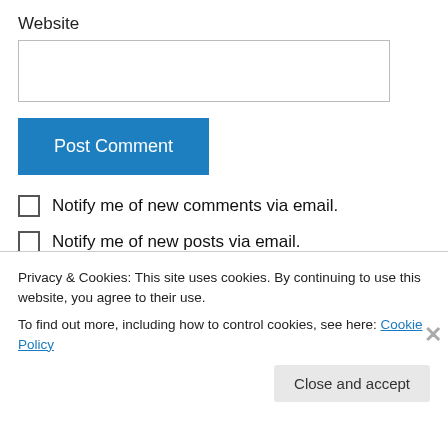Website
[Figure (screenshot): Empty text input box for website URL]
[Figure (screenshot): Blue 'Post Comment' button]
Notify me of new comments via email.
Notify me of new posts via email.
Anonymous on May 6, 2013 at 9:50 am
Privacy & Cookies: This site uses cookies. By continuing to use this website, you agree to their use.
To find out more, including how to control cookies, see here: Cookie Policy
Close and accept